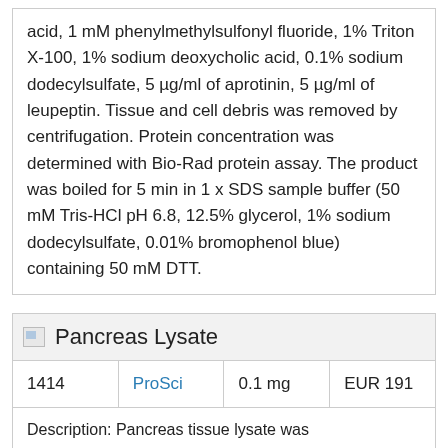acid, 1 mM phenylmethylsulfonyl fluoride, 1% Triton X-100, 1% sodium deoxycholic acid, 0.1% sodium dodecylsulfate, 5 µg/ml of aprotinin, 5 µg/ml of leupeptin. Tissue and cell debris was removed by centrifugation. Protein concentration was determined with Bio-Rad protein assay. The product was boiled for 5 min in 1 x SDS sample buffer (50 mM Tris-HCl pH 6.8, 12.5% glycerol, 1% sodium dodecylsulfate, 0.01% bromophenol blue) containing 50 mM DTT.
|  | Pancreas Lysate |  |  |  |
| --- | --- | --- | --- | --- |
| 1414 | ProSci | 0.1 mg | EUR 191 |
| Description: Pancreas tissue lysate was |  |  |  |